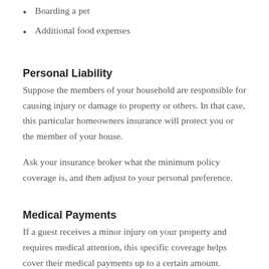Boarding a pet
Additional food expenses
Personal Liability
Suppose the members of your household are responsible for causing injury or damage to property or others. In that case, this particular homeowners insurance will protect you or the member of your house.
Ask your insurance broker what the minimum policy coverage is, and then adjust to your personal preference.
Medical Payments
If a guest receives a minor injury on your property and requires medical attention, this specific coverage helps cover their medical payments up to a certain amount. Limits in a standard policy are typically set at $1,000 to $5,000. That means if you have $5,000 in coverage and a guest's medical bills exceed that amount, you'll